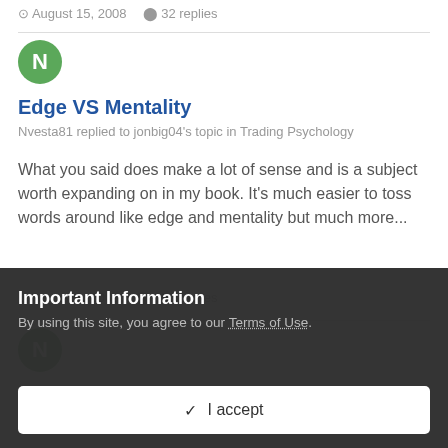August 15, 2008  32 replies
Edge VS Mentality
Nvesta81 replied to jonbig04's topic in Trading Psychology
What you said does make a lot of sense and is a subject worth expanding on in my book. It's much easier to toss words around like edge and mentality but much more...
August 8, 2008  157 replies
Important Information
By using this site, you agree to our Terms of Use.
✔  I accept